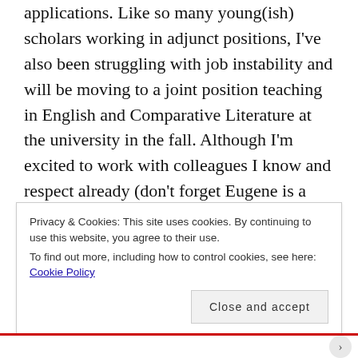applications.  Like so many young(ish) scholars working in adjunct positions, I've also been struggling with job instability and will be moving to a joint position teaching in English and Comparative Literature at the university in the fall.  Although I'm excited to work with colleagues I know and respect already (don't forget Eugene is a small town, so this is like moving down the street), it will shift priorities for me as the new classes and structure will take up more time.  Some additional family financial pressures mean I will need to start prioritizing stability and writing much more, both for academic journals and professional food publications to make ends meet.
Privacy & Cookies: This site uses cookies. By continuing to use this website, you agree to their use.
To find out more, including how to control cookies, see here: Cookie Policy
Close and accept